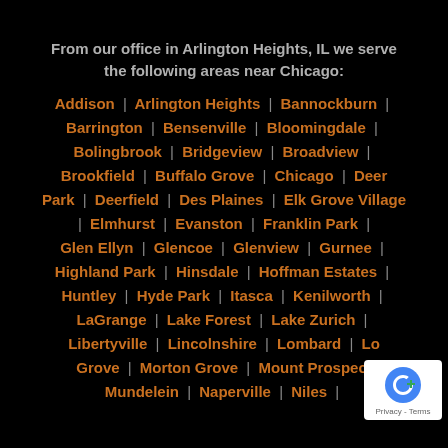From our office in Arlington Heights, IL we serve the following areas near Chicago:
Addison | Arlington Heights | Bannockburn | Barrington | Bensenville | Bloomingdale | Bolingbrook | Bridgeview | Broadview | Brookfield | Buffalo Grove | Chicago | Deer Park | Deerfield | Des Plaines | Elk Grove Village | Elmhurst | Evanston | Franklin Park | Glen Ellyn | Glencoe | Glenview | Gurnee | Highland Park | Hinsdale | Hoffman Estates | Huntley | Hyde Park | Itasca | Kenilworth | LaGrange | Lake Forest | Lake Zurich | Libertyville | Lincolnshire | Lombard | Lo... Grove | Morton Grove | Mount Prospect | Mundelein | Naperville | Niles |
[Figure (logo): reCAPTCHA logo with Privacy and Terms text]